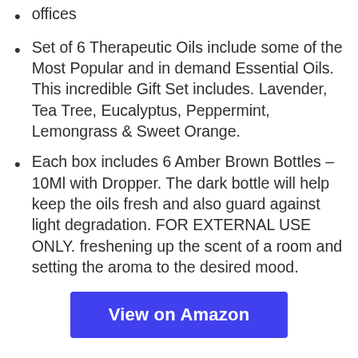offices
Set of 6 Therapeutic Oils include some of the Most Popular and in demand Essential Oils. This incredible Gift Set includes. Lavender, Tea Tree, Eucalyptus, Peppermint, Lemongrass & Sweet Orange.
Each box includes 6 Amber Brown Bottles – 10Ml with Dropper. The dark bottle will help keep the oils fresh and also guard against light degradation. FOR EXTERNAL USE ONLY. freshening up the scent of a room and setting the aroma to the desired mood.
View on Amazon